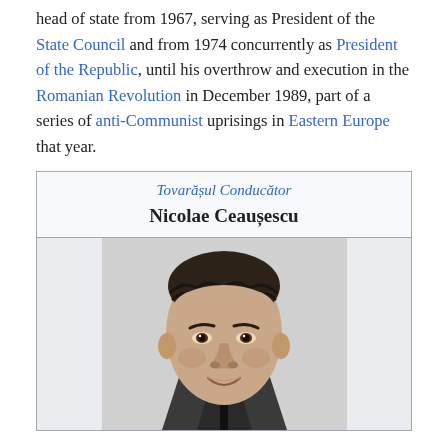head of state from 1967, serving as President of the State Council and from 1974 concurrently as President of the Republic, until his overthrow and execution in the Romanian Revolution in December 1989, part of a series of anti-Communist uprisings in Eastern Europe that year.
[Figure (other): Infobox for Nicolae Ceaușescu with title 'Tovarășul Conducător' and a black-and-white portrait photograph of Nicolae Ceaușescu]